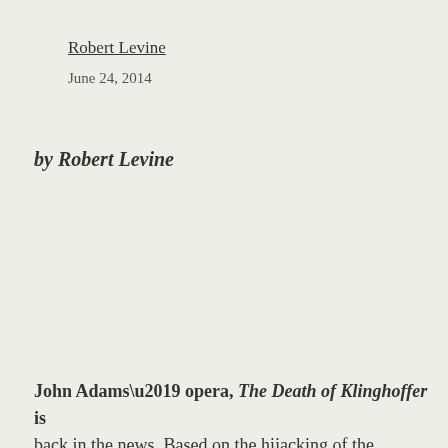Robert Levine
June 24, 2014
by Robert Levine
John Adams’ opera, The Death of Klinghoffer is back in the news. Based on the hijacking of the